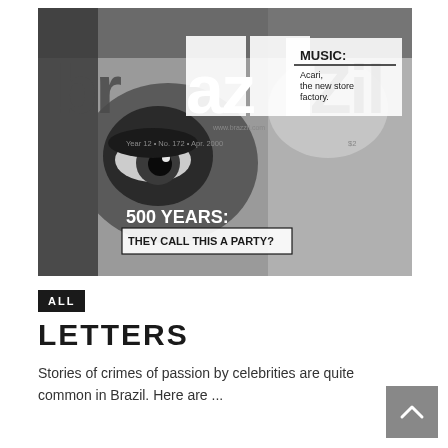[Figure (photo): Black and white magazine cover of 'brazzil' magazine. Large stylized 'brazzil' logo text overlaid on a close-up face (eye visible). Text reads: MUSIC: Acari, the new store factory. Year 12 • No. 172 • Apr 2000. 500 YEARS: THEY CALL THIS A PARTY?]
ALL
LETTERS
Stories of crimes of passion by celebrities are quite common in Brazil. Here are ...